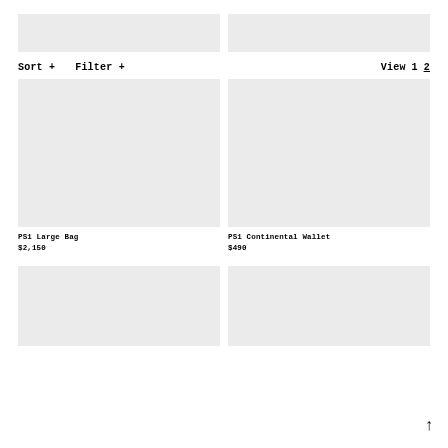[Figure (other): Two gray placeholder banner boxes at the top of a product listing page]
Sort +    Filter +                              View 1  2
[Figure (other): Gray placeholder image for PS1 Large Bag product]
PS1 Large Bag
$2,150
[Figure (other): Gray placeholder image for PS1 Continental Wallet product]
PS1 Continental Wallet
$490
[Figure (other): Two gray placeholder boxes for additional product cards at the bottom]
↑